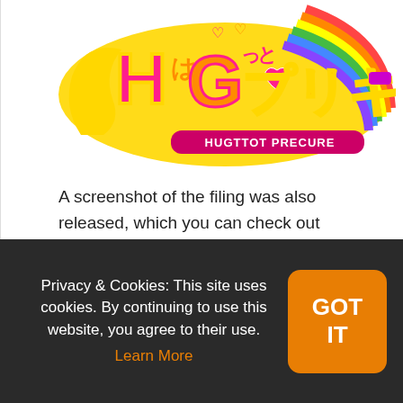[Figure (logo): Colorful Japanese anime logo for 'HUGtto! PreCure' (HUGTTOT PRECURE) with stylized text in pink, yellow, red, and rainbow colors with decorative swirls and hearts]
A screenshot of the filing was also released, which you can check out below.
[Figure (screenshot): Broken/unloaded image placeholder showing a small broken image icon at top-left with a white background]
Privacy & Cookies: This site uses cookies. By continuing to use this website, you agree to their use. Learn More